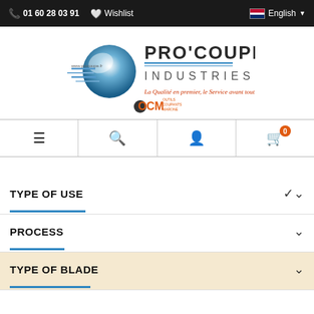01 60 28 03 91  Wishlist  English
[Figure (logo): Pro'Coupe Industries logo with blue swirl, company name, tagline 'La Qualité en premier, le Service avant tout!' and OCM sub-brand mark]
[Figure (infographic): Navigation bar with four icons: hamburger menu, search magnifier, user/person icon, shopping cart with badge showing 0]
TYPE OF USE
PROCESS
TYPE OF BLADE